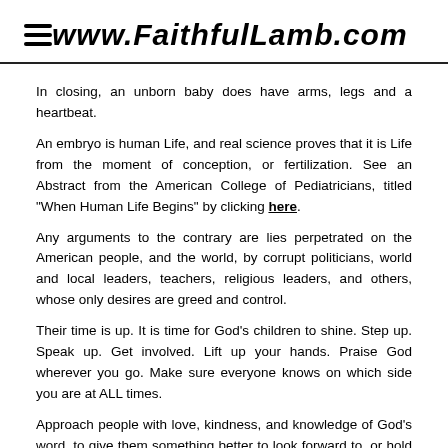www.FaithfulLamb.com
In closing, an unborn baby does have arms, legs and a heartbeat.
An embryo is human Life, and real science proves that it is Life from the moment of conception, or fertilization. See an Abstract from the American College of Pediatricians, titled "When Human Life Begins" by clicking here.
Any arguments to the contrary are lies perpetrated on the American people, and the world, by corrupt politicians, world and local leaders, teachers, religious leaders, and others, whose only desires are greed and control.
Their time is up. It is time for God's children to shine. Step up. Speak up. Get involved. Lift up your hands. Praise God wherever you go. Make sure everyone knows on which side you are at ALL times.
Approach people with love, kindness, and knowledge of God's word, to give them something better to look forward to, or hold on to, rather than